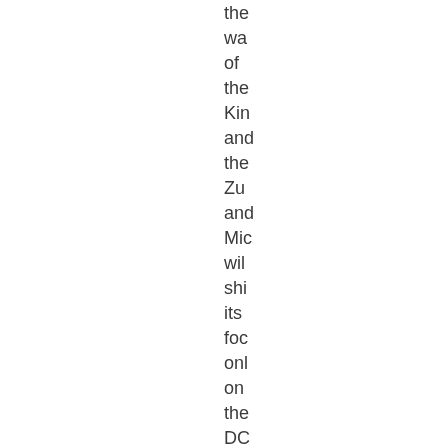the wa of the Kin and the Zu and Mic wil shi its foc onl on the DC